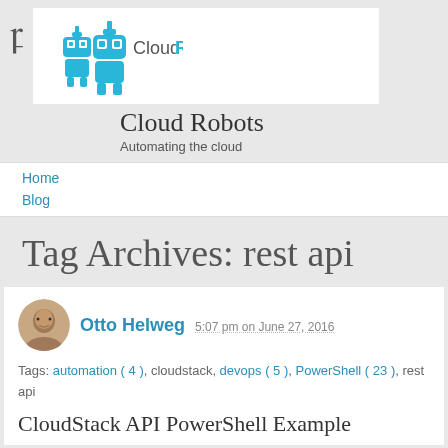[Figure (logo): CloudRobots logo with two blue robot characters and text 'CloudRobots' in blue]
Cloud Robots
Automating the cloud
Home
Blog
Tag Archives: rest api
Otto Helweg  5:07 pm on June 27, 2016
Tags: automation ( 4 ), cloudstack, devops ( 5 ), PowerShell ( 23 ), rest api
CloudStack API PowerShell Example